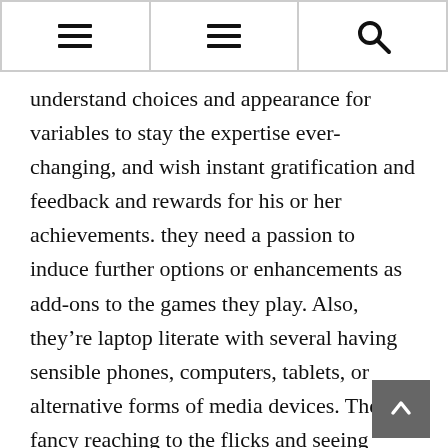Navigation header with two hamburger menu icons and a search icon
understand choices and appearance for variables to stay the expertise ever-changing, and wish instant gratification and feedback and rewards for his or her achievements. they need a passion to induce further options or enhancements as add-ons to the games they play. Also, they’re laptop literate with several having sensible phones, computers, tablets, or alternative forms of media devices. They fancy reaching to the flicks and seeing films with heroes and villains full of action and excitement. additionally, they wish to be a part of the action,